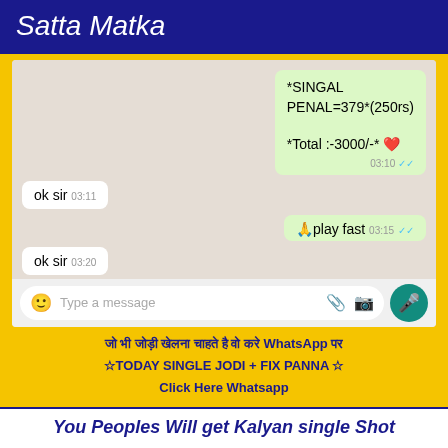Satta Matka
[Figure (screenshot): WhatsApp chat screenshot showing messages: outgoing bubble with '*SINGAL PENAL=379*(250rs)' and '*Total :-3000/-* ❤️' at 03:10, incoming 'ok sir' at 03:11, outgoing '🙏play fast' at 03:15, incoming 'ok sir' at 03:20, and a chat input bar at bottom]
जो भी जोड़ी खेलना चाहते है वो करे WhatsApp पर☆TODAY SINGLE JODI + FIX PANNA ☆Click Here Whatsapp
You Peoples Will get Kalyan single Shot